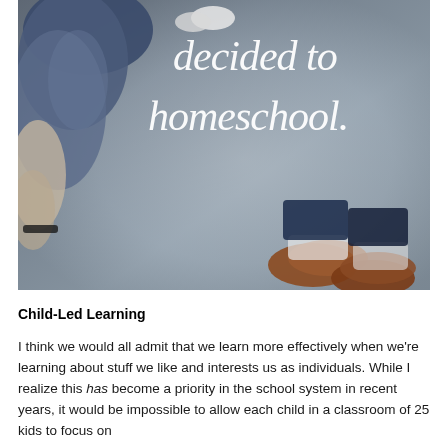[Figure (photo): Overhead/top-down photo of two people (likely a parent and child) standing on pavement, with white cursive text overlay reading 'decided to homeschool.' The child is in a denim jacket with sneakers visible at top, and brown loafers/moccasins are visible at bottom right.]
Child-Led Learning
I think we would all admit that we learn more effectively when we're learning about stuff we like and interests us as individuals. While I realize this has become a priority in the school system in recent years, it would be impossible to allow each child in a classroom of 25 kids to focus on